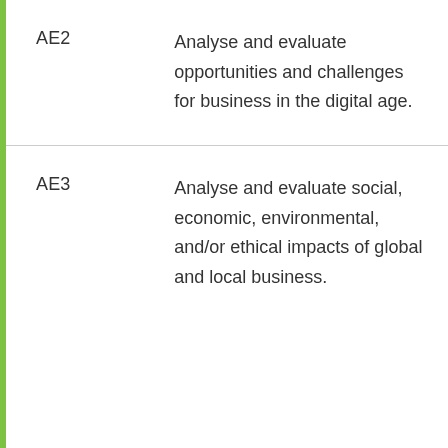| Code | Description |
| --- | --- |
| AE2 | Analyse and evaluate opportunities and challenges for business in the digital age. |
| AE3 | Analyse and evaluate social, economic, environmental, and/or ethical impacts of global and local business. |